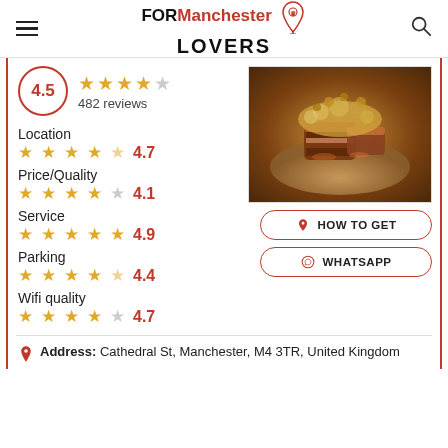FORManchester LOVERS
4.5 — 482 reviews
Location 4.7
Price/Quality 4.1
Service 4.9
Parking 4.4
Wifi quality 4.7
[Figure (photo): Photo of a plated dish with pork belly and crispy toppings on a round plate]
HOW TO GET
WHATSAPP
Address: Cathedral St, Manchester, M4 3TR, United Kingdom